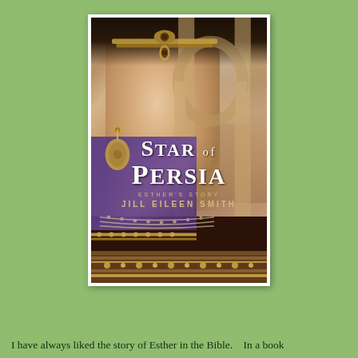[Figure (illustration): Book cover for 'Star of Persia: Esther's Story' by Jill Eileen Smith. Shows a dark-haired woman wearing ornate jewelry and a headpiece, with ancient Persian columns and arches in the background. The woman wears a purple dress with decorative borders. Title text 'STAR OF PERSIA' in large white letters, subtitle 'ESTHER'S STORY', and author name 'JILL EILEEN SMITH' displayed on the cover.]
I have always liked the story of Esther in the Bible.   In a book